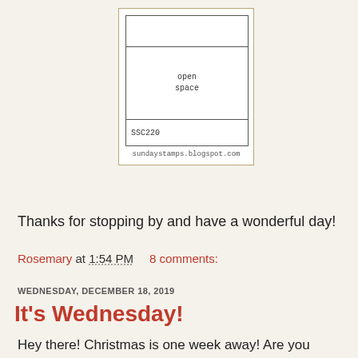[Figure (schematic): Card layout schematic diagram showing three horizontal bands (top blank band, middle 'open space' band, bottom 'SSC220' band) inside a bordered rectangle, with text 'sundaystamps.blogspot.com' below]
Thanks for stopping by and have a wonderful day!
Rosemary at 1:54 PM   8 comments:
WEDNESDAY, DECEMBER 18, 2019
It's Wednesday!
Hey there!  Christmas is one week away!  Are you ready?